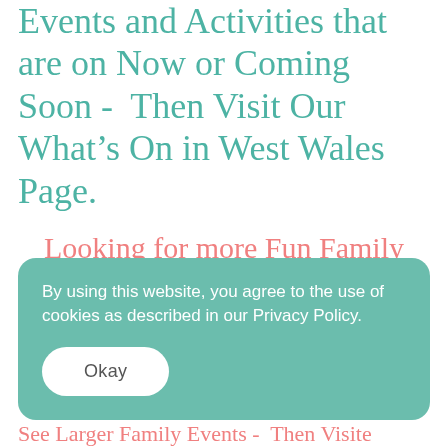Events and Activities that are on Now or Coming Soon -  Then Visit Our What's On in West Wales Page.
Looking for more Fun Family Friendly Events and Activities that are on Now or Coming Soon -  Then Visit Our What's On in West Wales Page
By using this website, you agree to the use of cookies as described in our Privacy Policy.
Okay
See Larger Family Events -  Then Visite